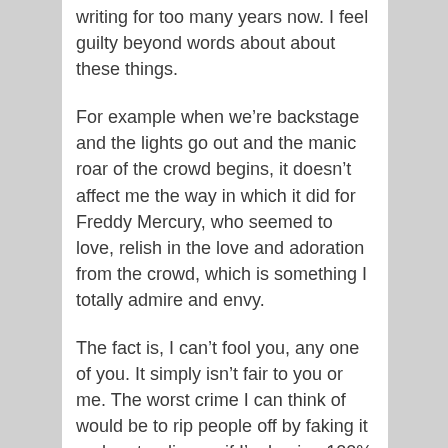writing for too many years now. I feel guilty beyond words about about these things.
For example when we're backstage and the lights go out and the manic roar of the crowd begins, it doesn't affect me the way in which it did for Freddy Mercury, who seemed to love, relish in the love and adoration from the crowd, which is something I totally admire and envy.
The fact is, I can't fool you, any one of you. It simply isn't fair to you or me. The worst crime I can think of would be to rip people off by faking it and pretending as if I'm having 100% fun. Sometimes I feel as if I should have a punch-in time clock before I walk out on stage . I've tried everything within my power to